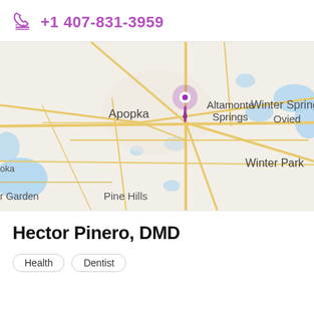+1 407-831-3959
[Figure (map): Map showing the Central Florida area with a purple location pin near Altamonte Springs. Visible cities include Apopka, Altamonte Springs, Winter Springs, Oviedo, Winter Park, Pine Hills, and Garden area.]
Hector Pinero, DMD
Health
Dentist